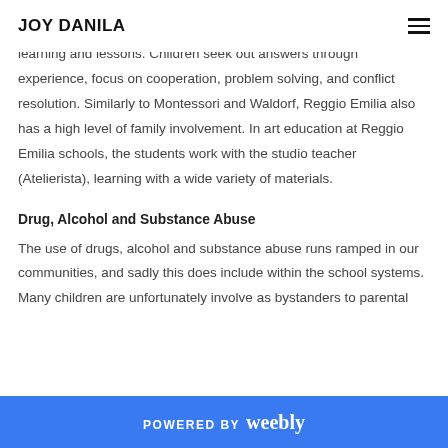JOY DANILA
learning and lessons. Children seek out answers through experience, focus on cooperation, problem solving, and conflict resolution. Similarly to Montessori and Waldorf, Reggio Emilia also has a high level of family involvement. In art education at Reggio Emilia schools, the students work with the studio teacher (Atelierista), learning with a wide variety of materials.
Drug, Alcohol and Substance Abuse
The use of drugs, alcohol and substance abuse runs ramped in our communities, and sadly this does include within the school systems. Many children are unfortunately involve as bystanders to parental
POWERED BY weebly